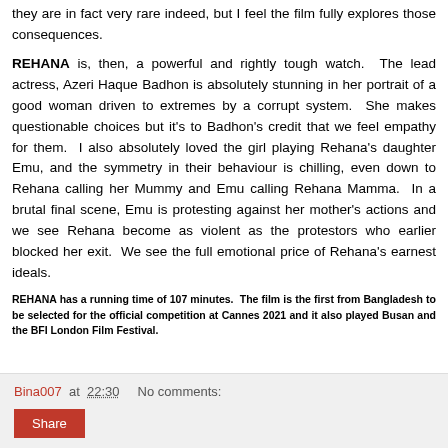they are in fact very rare indeed, but I feel the film fully explores those consequences.
REHANA is, then, a powerful and rightly tough watch. The lead actress, Azeri Haque Badhon is absolutely stunning in her portrait of a good woman driven to extremes by a corrupt system. She makes questionable choices but it's to Badhon's credit that we feel empathy for them. I also absolutely loved the girl playing Rehana's daughter Emu, and the symmetry in their behaviour is chilling, even down to Rehana calling her Mummy and Emu calling Rehana Mamma. In a brutal final scene, Emu is protesting against her mother's actions and we see Rehana become as violent as the protestors who earlier blocked her exit. We see the full emotional price of Rehana's earnest ideals.
REHANA has a running time of 107 minutes. The film is the first from Bangladesh to be selected for the official competition at Cannes 2021 and it also played Busan and the BFI London Film Festival.
Bina007 at 22:30   No comments:
Share